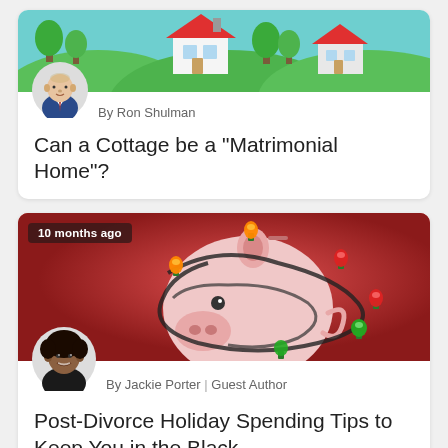[Figure (illustration): Illustrated card with colorful cottage/house scene at top; circular author photo of man in suit below it; author byline 'By Ron Shulman'; title 'Can a Cottage be a "Matrimonial Home"?']
By Ron Shulman
Can a Cottage be a "Matrimonial Home"?
[Figure (photo): Photo of a piggy bank wrapped in Christmas lights on red background; badge '10 months ago'; circular author photo of woman smiling; author byline 'By Jackie Porter | Guest Author'; title 'Post-Divorce Holiday Spending Tips to Keep You in the Black']
By Jackie Porter | Guest Author
Post-Divorce Holiday Spending Tips to Keep You in the Black